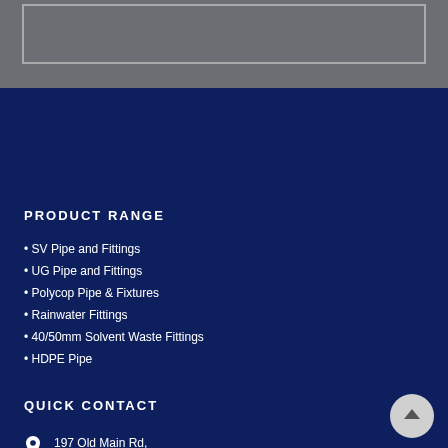[Figure (other): Gray top section with a light-bordered rectangle box]
PRODUCT RANGE
• SV Pipe and Fittings
• UG Pipe and Fittings
• Polycop Pipe & Fixtures
• Rainwater Fittings
• 40/50mm Solvent Waste Fittings
• HDPE Pipe
QUICK CONTACT
197 Old Main Rd,
Lower Illovo
Winkelspruit